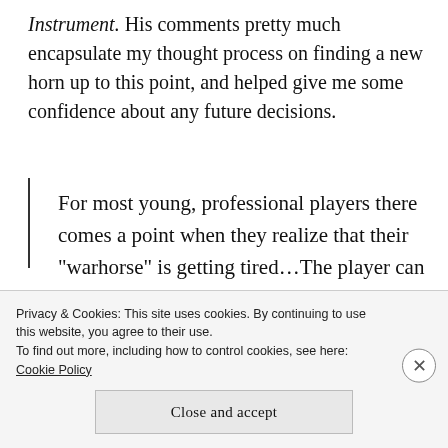Instrument. His comments pretty much encapsulate my thought process on finding a new horn up to this point, and helped give me some confidence about any future decisions.
For most young, professional players there comes a point when they realize that their “warhorse” is getting tired…The player can stave off the inevitable change by having the valves plated, the slides expanded, and
Privacy & Cookies: This site uses cookies. By continuing to use this website, you agree to their use.
To find out more, including how to control cookies, see here: Cookie Policy
Close and accept